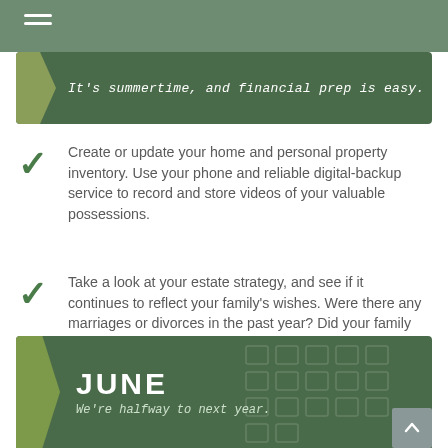[Figure (infographic): Green banner with italicized handwriting-style text: It's summertime, and financial prep is easy.]
Create or update your home and personal property inventory. Use your phone and reliable digital-backup service to record and store videos of your valuable possessions.
Take a look at your estate strategy, and see if it continues to reflect your family's wishes. Were there any marriages or divorces in the past year? Did your family welcome a new child or grandchild?
[Figure (infographic): Green banner with large bold text JUNE and italicized handwriting-style subtitle: We're halfway to next year.]